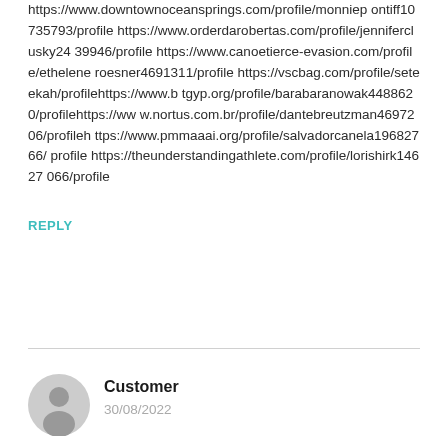https://www.downtownoceansprings.com/profile/monniep ontiff10735793/profile https://www.orderdarobertas.com/profile/jenniferclusky24 39946/profile https://www.canoetierce-evasion.com/profile/ethelene roesner4691311/profile https://vscbag.com/profile/seteekah/profilehttps://www.b tgyp.org/profile/barabaranowak4488620/profilehttps://ww w.nortus.com.br/profile/dantebreutzman4697206/profileh ttps://www.pmmaaai.org/profile/salvadorcanela19682766/ profile https://theunderstandingathlete.com/profile/lorishirk14627 066/profile
REPLY
Customer
30/08/2022